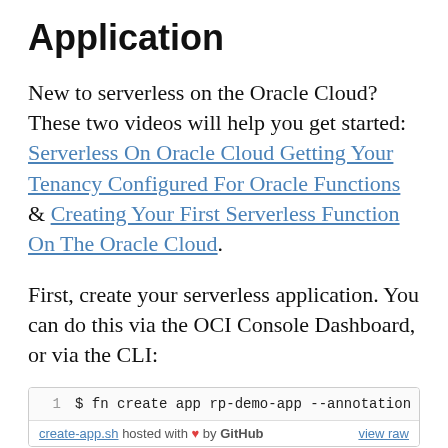Application
New to serverless on the Oracle Cloud? These two videos will help you get started: Serverless On Oracle Cloud Getting Your Tenancy Configured For Oracle Functions & Creating Your First Serverless Function On The Oracle Cloud.
First, create your serverless application. You can do this via the OCI Console Dashboard, or via the CLI:
$ fn create app rp-demo-app --annotation oracle.com/c
create-app.sh hosted with ♥ by GitHub   view raw